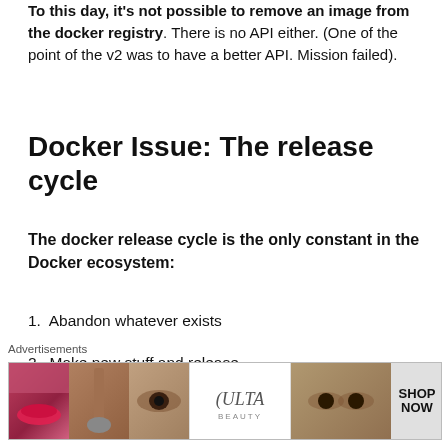To this day, it's not possible to remove an image from the docker registry. There is no API either. (One of the point of the v2 was to have a better API. Mission failed).
Docker Issue: The release cycle
The docker release cycle is the only constant in the Docker ecosystem:
1. Abandon whatever exists
2. Make new stuff and release
3. Ignore existing users and retro compatibility
Advertisements
[Figure (other): Red advertisement loading bar]
Advertisements
[Figure (other): ULTA beauty advertisement banner with cosmetics imagery and SHOP NOW text]